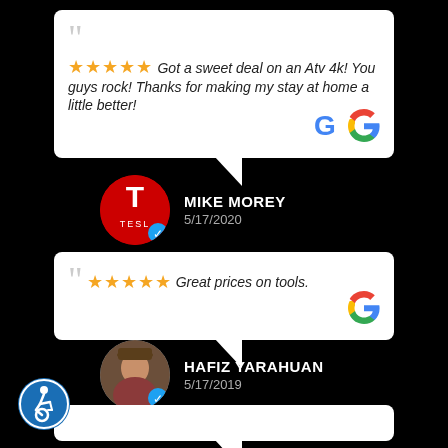Got a sweet deal on an Atv 4k! You guys rock! Thanks for making my stay at home a little better!
MIKE MOREY
5/17/2020
Great prices on tools.
HAFIZ YARAHUAN
5/17/2019
[Figure (other): Accessibility icon at bottom left]
[Figure (logo): Google G logo in review bubble 1]
[Figure (logo): Tesla avatar circle for Mike Morey]
[Figure (logo): Google G logo in review bubble 2]
[Figure (photo): Profile photo circle for Hafiz Yarahuan]